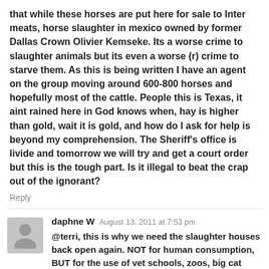that while these horses are put here for sale to Inter meats, horse slaughter in mexico owned by former Dallas Crown Olivier Kemseke. Its a worse crime to slaughter animals but its even a worse (r) crime to starve them. As this is being written I have an agent on the group moving around 600-800 horses and hopefully most of the cattle. People this is Texas, it aint rained here in God knows when, hay is higher than gold, wait it is gold, and how do I ask for help is beyond my comprehension. The Sheriff's office is livide and tomorrow we will try and get a court order but this is the tough part. Is it illegal to beat the crap out of the ignorant?
Reply
daphne W August 13, 2011 at 7:53 pm
@terri, this is why we need the slaughter houses back open again. NOT for human consumption, BUT for the use of vet schools, zoos, big cat sanc. etc. Yes it would be nice to be able to eat any livestock